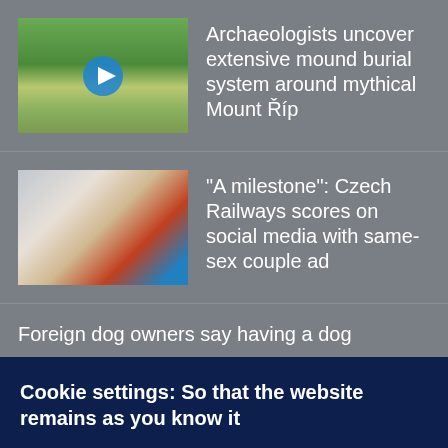[Figure (photo): Thumbnail image of a road or path in a green landscape with a play button icon overlay]
Archaeologists uncover extensive mound burial system around mythical Mount Říp
[Figure (photo): Thumbnail image of people on a train, including a person in a red shirt]
"A milestone": Czech Railways scores on social media with same-sex couple ad
Foreign dog owners say having a dog
Cookie settings: So that the website remains as you know it
We use cookies. Thanks to them, our website and audio player work properly for you, and you will always find exactly the programs you like among the recommended content.
They also help us to correctly evaluate the success of programs and constantly improve the quality of radio broadcasts and podcasts.